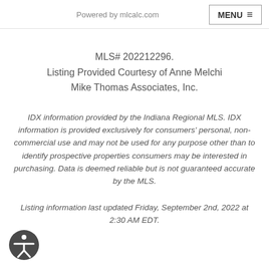Powered by mlcalc.com
MENU
MLS# 202212296.
Listing Provided Courtesy of Anne Melchi
Mike Thomas Associates, Inc.
IDX information provided by the Indiana Regional MLS. IDX information is provided exclusively for consumers' personal, non-commercial use and may not be used for any purpose other than to identify prospective properties consumers may be interested in purchasing. Data is deemed reliable but is not guaranteed accurate by the MLS.
Listing information last updated Friday, September 2nd, 2022 at 2:30 AM EDT.
[Figure (illustration): Accessibility icon — circular dark grey badge with a person figure in white]